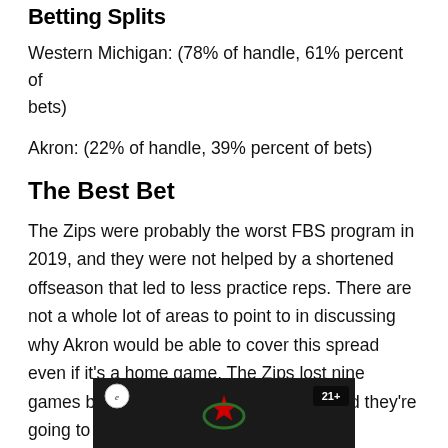Betting Splits
Western Michigan: (78% of handle, 61% percent of bets)
Akron: (22% of handle, 39% percent of bets)
The Best Bet
The Zips were probably the worst FBS program in 2019, and they were not helped by a shortened offseason that led to less practice reps. There are not a whole lot of areas to point to in discussing why Akron would be able to cover this spread even if it's a home game. The Zips lost nine games by more than this point spread, and they're going to do it again on Wednesday night.
[Figure (photo): Dark advertisement banner with sports team logo (star emblem), circular logo badge in top-left, and '21+' badge in top-right corner]